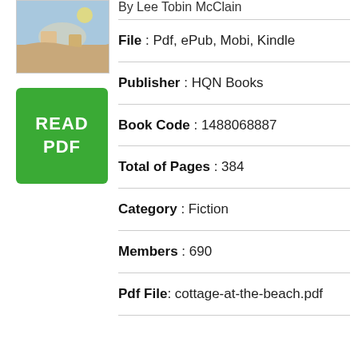[Figure (illustration): Thumbnail of book cover with beach/coastal scene]
[Figure (illustration): Green READ PDF button]
By Lee Tobin McClain
File : Pdf, ePub, Mobi, Kindle
Publisher : HQN Books
Book Code : 1488068887
Total of Pages : 384
Category : Fiction
Members : 690
Pdf File: cottage-at-the-beach.pdf